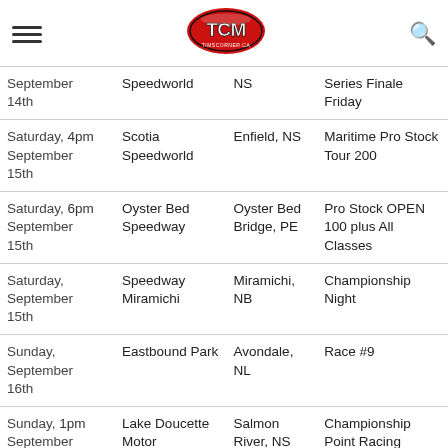TCM - TimsCorner.ca
| Date | Venue | Location | Event |
| --- | --- | --- | --- |
| September 14th | Speedworld | NS | Series Finale Friday |
| Saturday, September 15th 4pm | Scotia Speedworld | Enfield, NS | Maritime Pro Stock Tour 200 |
| Saturday, September 15th 6pm | Oyster Bed Speedway | Oyster Bed Bridge, PE | Pro Stock OPEN 100 plus All Classes |
| Saturday, September 15th | Speedway Miramichi | Miramichi, NB | Championship Night |
| Sunday, September 16th | Eastbound Park | Avondale, NL | Race #9 |
| Sunday, September 16th 1pm | Lake Doucette Motor Speedway | Salmon River, NS | Championship Point Racing |
| Friday, September 21st | Petty International Raceway | River Glade, NB | Mike Stevens Memorial - Support Classes |
| Saturday, | Petty | River | Mike Stevens |